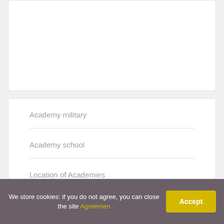Academy military
Academy school
Location of Academies
We store cookies: if you do not agree, you can close the site Agreemen
Accept